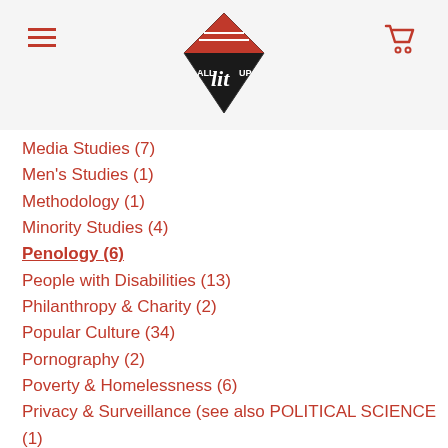All Lit Up — navigation header with logo and cart
Media Studies (7)
Men's Studies (1)
Methodology (1)
Minority Studies (4)
Penology (6)
People with Disabilities (13)
Philanthropy & Charity (2)
Popular Culture (34)
Pornography (2)
Poverty & Homelessness (6)
Privacy & Surveillance (see also POLITICAL SCIENCE (1)
Prostitution & Sex Trade (6)
Reference
Regional Studies (2)
Research (1)
Sexual Abuse & Harassment (5)
Slavery (2)
Social Classes (8)